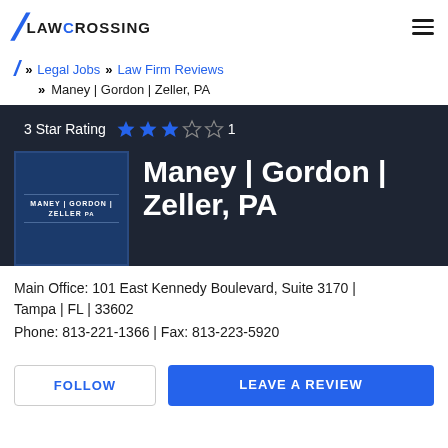LAWCROSSING
Legal Jobs » Law Firm Reviews » Maney | Gordon | Zeller, PA
3 Star Rating ★★★☆☆ 1
[Figure (logo): Maney Gordon Zeller PA law firm logo on dark blue background]
Maney | Gordon | Zeller, PA
Main Office: 101 East Kennedy Boulevard, Suite 3170 | Tampa | FL | 33602
Phone: 813-221-1366 | Fax: 813-223-5920
FOLLOW
LEAVE A REVIEW